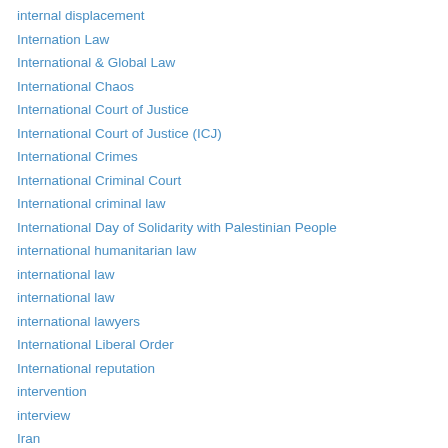internal displacement
Internation Law
International & Global Law
International Chaos
International Court of Justice
International Court of Justice (ICJ)
International Crimes
International Criminal Court
International criminal law
International Day of Solidarity with Palestinian People
international humanitarian law
international law
international law
international lawyers
International Liberal Order
International reputation
intervention
interview
Iran
Iran & 2020 US Elections